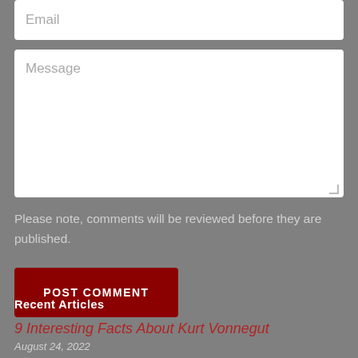Email
Message
Please note, comments will be reviewed before they are published.
POST COMMENT
Recent Articles
9 Interesting Facts About Kurt Vonnegut
August 24, 2022